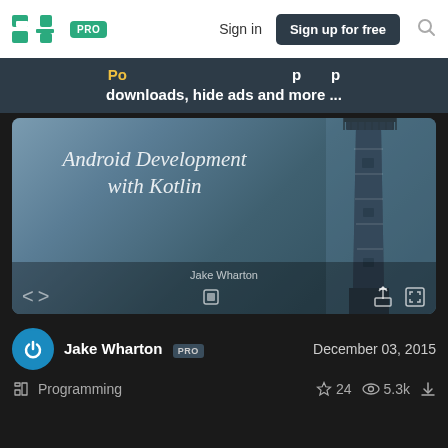SJ PRO  Sign in  Sign up for free
downloads, hide ads and more ...
[Figure (screenshot): SlideShare slide viewer showing 'Android Development with Kotlin' presentation by Jake Wharton, with a lighthouse photograph background. Navigation arrows, share and fullscreen icons visible.]
Jake Wharton PRO  December 03, 2015
Programming  ☆ 24  © 5.3k  ↓